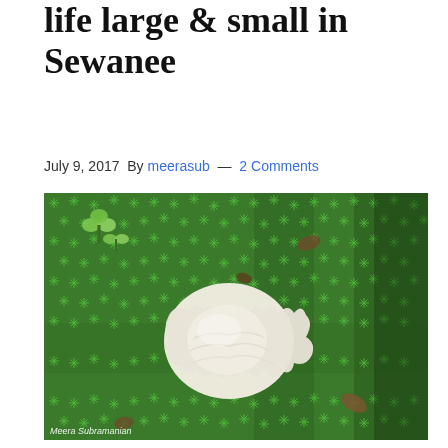life large & small in Sewanee
July 9, 2017 By meerasub — 2 Comments
[Figure (photo): Aerial view of a white mushroom growing on a dense bed of bright green star-shaped moss, with small green seedlings in upper left and a few brown fallen leaves. Photo credit: Meera Subramanian.]